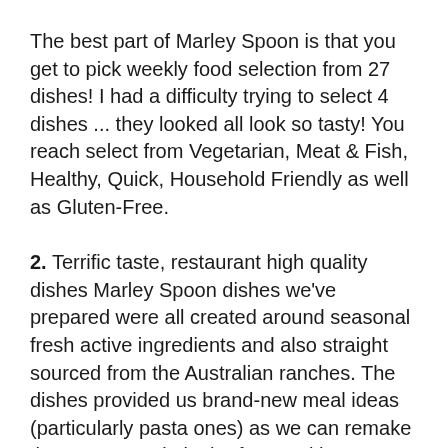The best part of Marley Spoon is that you get to pick weekly food selection from 27 dishes! I had a difficulty trying to select 4 dishes ... they looked all look so tasty! You reach select from Vegetarian, Meat & Fish, Healthy, Quick, Household Friendly as well as Gluten-Free.
2. Terrific taste, restaurant high quality dishes Marley Spoon dishes we've prepared were all created around seasonal fresh active ingredients and also straight sourced from the Australian ranches. The dishes provided us brand-new meal ideas (particularly pasta ones) as we can remake them once again in the future with our own ingredients! We've discovered Marley Spoon to be a wonderful